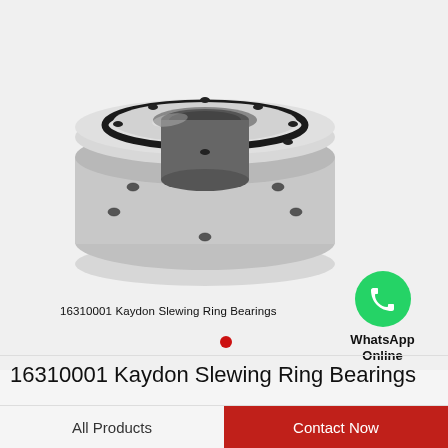[Figure (photo): Slewing ring bearing (Kaydon 16310001) - circular steel bearing with bolt holes viewed from top-front angle, silver/gray metallic finish with black O-ring]
16310001 Kaydon Slewing Ring Bearings
[Figure (logo): WhatsApp green circle icon with phone handset]
WhatsApp Online
16310001 Kaydon Slewing Ring Bearings
All Products
Contact Now